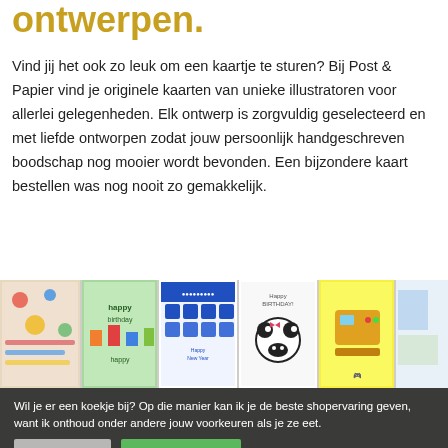ontwerpen.
Vind jij het ook zo leuk om een kaartje te sturen? Bij Post & Papier vind je originele kaarten van unieke illustratoren voor allerlei gelegenheden. Elk ontwerp is zorgvuldig geselecteerd en met liefde ontworpen zodat jouw persoonlijk handgeschreven boodschap nog mooier wordt bevonden. Een bijzondere kaart bestellen was nog nooit zo gemakkelijk.
[Figure (photo): A row of colorful greeting cards displayed side by side, including cards with birthday text, a panda, patterns, and illustrations.]
Wil je er een koekje bij? Op die manier kan ik je de beste shopervaring geven, want ik onthoud onder andere jouw voorkeuren als je ze eet.
Instellingen
Ja, dankjewel!